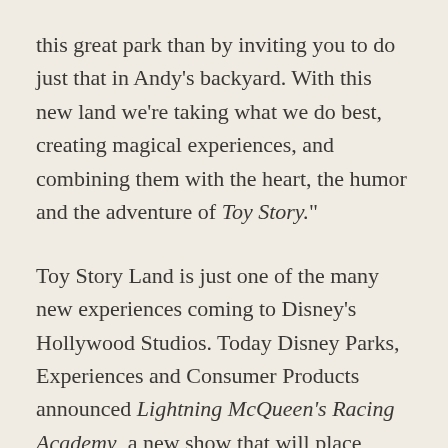this great park than by inviting you to do just that in Andy's backyard. With this new land we're taking what we do best, creating magical experiences, and combining them with the heart, the humor and the adventure of Toy Story."
Toy Story Land is just one of the many new experiences coming to Disney's Hollywood Studios. Today Disney Parks, Experiences and Consumer Products announced Lightning McQueen's Racing Academy, a new show that will place guests in the middle of the world of Disney•Pixar's Cars, debuting in early 2019;